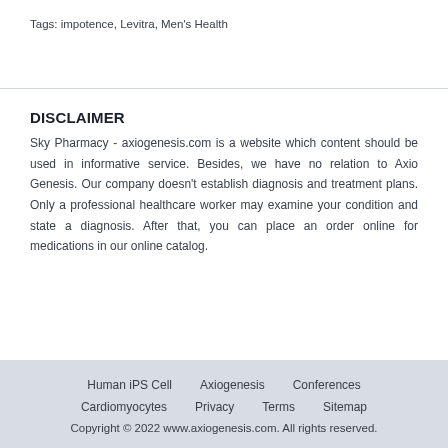Tags: impotence, Levitra, Men's Health
DISCLAIMER
Sky Pharmacy - axiogenesis.com is a website which content should be used in informative service. Besides, we have no relation to Axio Genesis. Our company doesn't establish diagnosis and treatment plans. Only a professional healthcare worker may examine your condition and state a diagnosis. After that, you can place an order online for medications in our online catalog.
Human iPS Cell   Axiogenesis   Conferences   Cardiomyocytes   Privacy   Terms   Sitemap   Copyright © 2022 www.axiogenesis.com. All rights reserved.